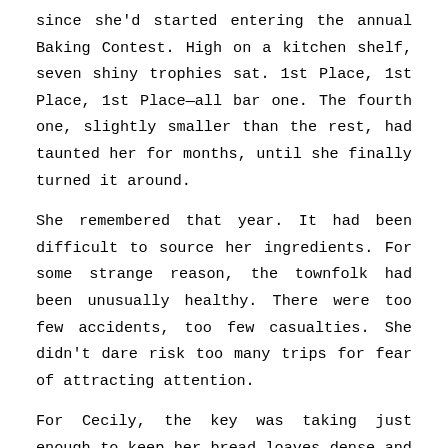since she'd started entering the annual Baking Contest. High on a kitchen shelf, seven shiny trophies sat. 1st Place, 1st Place, 1st Place—all bar one. The fourth one, slightly smaller than the rest, had taunted her for months, until she finally turned it around.
She remembered that year. It had been difficult to source her ingredients. For some strange reason, the townfolk had been unusually healthy. There were too few accidents, too few casualties. She didn't dare risk too many trips for fear of attracting attention.
For Cecily, the key was taking just enough to keep her bread loaves dense and delicious. But not for people to notice what was missing.
As she pommeled today's ball of dough, it occurred to her she was running low. She needed to make another trip, and soon. She couldn't risk running out. Oh, no... The secret ingredient made her bread loaves so extraordinary.